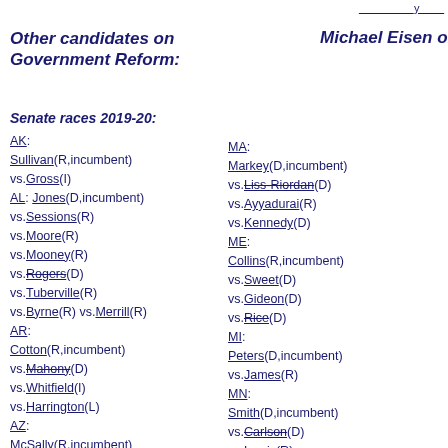Other candidates on Government Reform:
Michael Eisen on othe
Senate races 2019-20:
AK: Sullivan(R,incumbent) vs.Gross(I) AL: Jones(D,incumbent) vs.Sessions(R) vs.Moore(R) vs.Mooney(R) vs.Rogers(D) vs.Tuberville(R) vs.Byrne(R) vs.Merrill(R) AR: Cotton(R,incumbent) vs.Mahony(D) vs.Whitfield(I) vs.Harrington(L) AZ: McSally(R,incumbent) vs.Kelly(D) CO: Gardner(R,incumbent) vs.Hickenlooper(D) vs.Madden(D) vs.Baer(D) vs.Walsh(D) vs.Johnston(D)
MA: Markey(D,incumbent) vs.Liss-Riordan(D) vs.Ayyadurai(R) vs.Kennedy(D) ME: Collins(R,incumbent) vs.Sweet(D) vs.Gideon(D) vs.Rice(D) MI: Peters(D,incumbent) vs.James(R) MN: Smith(D,incumbent) vs.Carlson(D) vs.Lewis(R) vs.Overby(g) MS: Hyde-Smith(R,incumbent) vs.Espy(D) vs.Bohren(D) MT: Daines(R,incumbent)